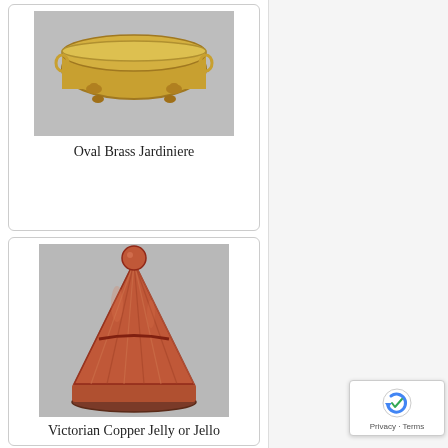[Figure (photo): Oval brass jardiniere with lion paw feet and ring handles, photographed against a grey background]
Oval Brass Jardiniere
[Figure (photo): Victorian copper jelly or jello mould in conical ribbed shape with a ball finial on top, photographed against a grey background]
Victorian Copper Jelly or Jello